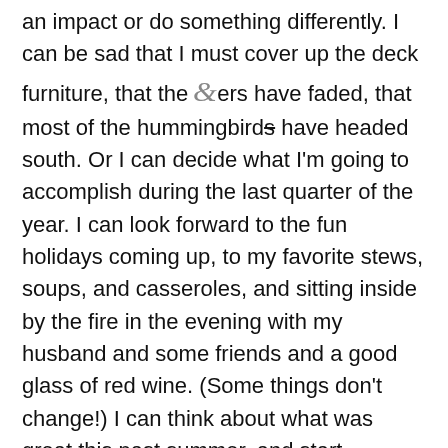an impact or do something differently.  I can be sad that I must cover up the deck furniture, that the flowers have faded, that most of the hummingbirds have headed south.  Or I can decide what I'm going to accomplish during the last quarter of the year.  I can look forward to the fun holidays coming up, to my favorite stews, soups, and casseroles, and sitting inside by the fire in the evening with my husband and some friends and a good glass of red wine.  (Some things don't change!)   I can think about what was great this past summer, and start planning things I want to do next year.  Wouldn't it be silly to spend my time mourning the loss of summer, and lose out on the great things fall has to offer?